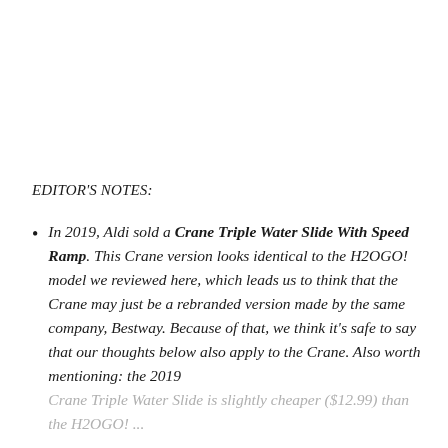EDITOR'S NOTES:
In 2019, Aldi sold a Crane Triple Water Slide With Speed Ramp. This Crane version looks identical to the H2OGO! model we reviewed here, which leads us to think that the Crane may just be a rebranded version made by the same company, Bestway. Because of that, we think it's safe to say that our thoughts below also apply to the Crane. Also worth mentioning: the 2019 Crane Triple Water Slide is slightly cheaper ($12.99) than the H2OGO! version ($14.99).